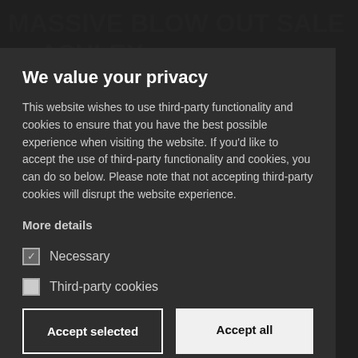[Figure (screenshot): Dark background of a website with text 'MASSIVE BLOW OUT SALE — ASHLEY REVSO' visible behind a cookie consent modal overlay. Background also shows Rathfarnham branding and social media icons.]
We value your privacy
This website wishes to use third-party functionality and cookies to ensure that you have the best possible experience when visiting the website. If you'd like to accept the use of third-party functionality and cookies, you can do so below. Please note that not accepting third-party cookies will disrupt the website experience.
More details
Necessary
Third-party cookies
Accept selected
Accept all